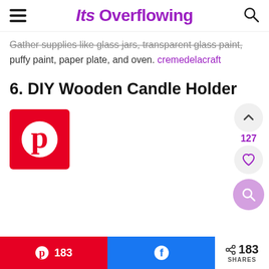Its Overflowing
Gather supplies like glass jars, transparent glass paint, puffy paint, paper plate, and oven. cremedelacraft
6. DIY Wooden Candle Holder
[Figure (logo): Pinterest logo red square with white P icon]
127
183  183 SHARES